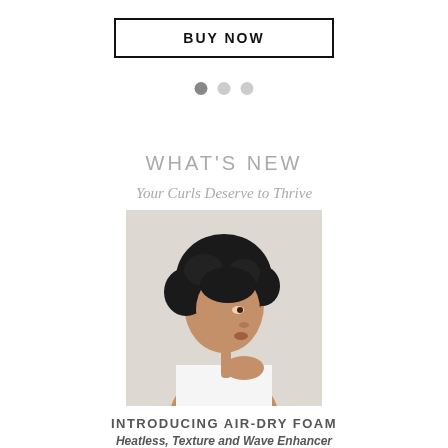BUY NOW
[Figure (other): Three pagination dots: one filled dark gray, two light gray]
WHAT'S NEW
Your Curls Deserve to Thrive
[Figure (photo): Woman with short curly hair in profile view, wearing white sleeveless top, touching her chin, against a light background]
INTRODUCING AIR-DRY FOAM
Heatless, Texture and Wave Enhancer